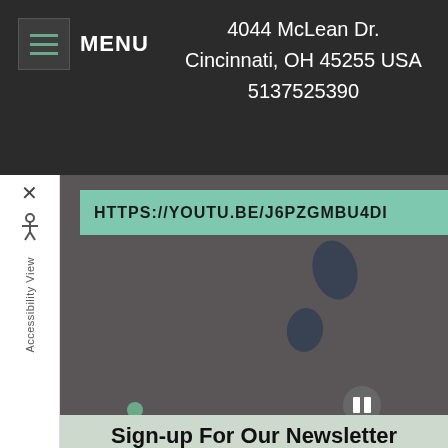MENU   4044 McLean Dr. Cincinnati, OH 45255 USA 5137525390
[Figure (screenshot): Website screenshot showing a dark navigation header with hamburger menu and MENU label on the left, address and phone number centered on right. Below is a dark video/media section with a teal YouTube link overlay showing HTTPS://YOUTU.BE/J6PZGMBU4DI, footprint silhouette graphic, and carousel pagination controls with a green dot and pause button. An accessibility sidebar is on the left edge with X close button and 'Accessibility View' vertical label. Below is a sage-green newsletter signup section with heading 'Sign-up For Our Newsletter' and subtext 'We look forward to hearing from you'.]
Sign-up For Our Newsletter
We look forward to hearing from you